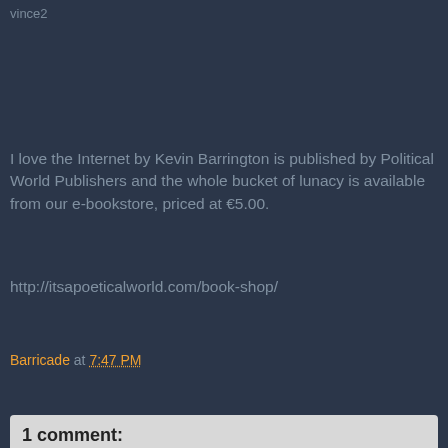[Figure (other): Small thumbnail image labeled 'vince2']
I love the Internet by Kevin Barrington is published by Political World Publishers and the whole bucket of lunacy is available from our e-bookstore, priced at €5.00.
http://itsapoeticalworld.com/book-shop/
Barricade at 7:47 PM
Share
1 comment: